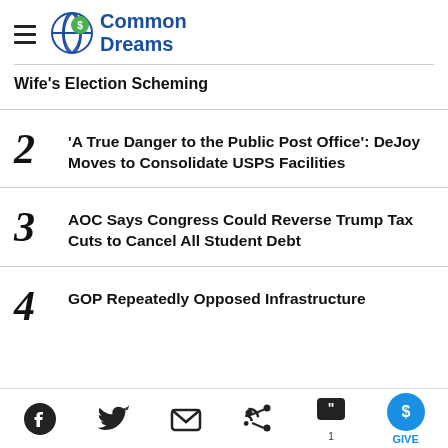Common Dreams
Wife's Election Scheming
2 'A True Danger to the Public Post Office': DeJoy Moves to Consolidate USPS Facilities
3 AOC Says Congress Could Reverse Trump Tax Cuts to Cancel All Student Debt
4 GOP Repeatedly Opposed Infrastructure